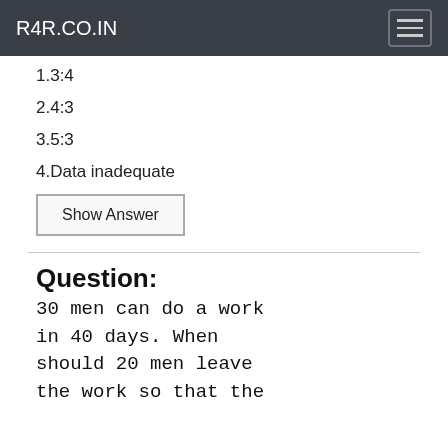R4R.CO.IN
1.3:4
2.4:3
3.5:3
4.Data inadequate
Question:
30 men can do a work in 40 days. When should 20 men leave the work so that the